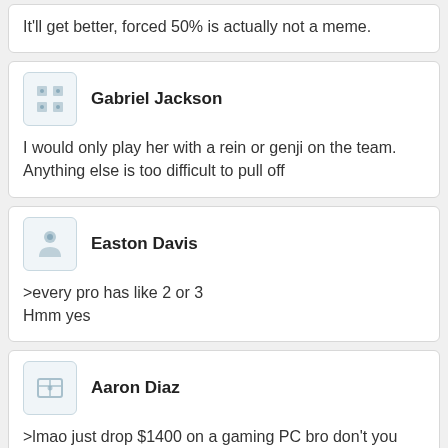It'll get better, forced 50% is actually not a meme.
Gabriel Jackson
I would only play her with a rein or genji on the team. Anything else is too difficult to pull off
Easton Davis
>every pro has like 2 or 3
Hmm yes
Aaron Diaz
>lmao just drop $1400 on a gaming PC bro don't you know paying $60 a year costs more in the long run??
Isaiah Moore